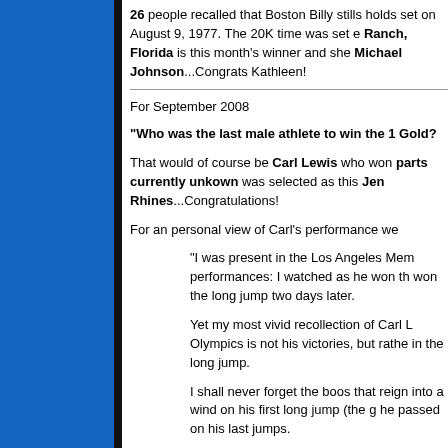26 people recalled that Boston Billy stills holds a record set on August 9, 1977. The 20K time was set on... Ranch, Florida is this month's winner and she wins a Michael Johnson...Congrats Kathleen!
For September 2008
"Who was the last male athlete to win the 1 Gold?
That would of course be Carl Lewis who won... parts currently unkown was selected as this... Jen Rhines...Congratulations!
For an personal view of Carl's performance we
"I was present in the Los Angeles Mem performances: I watched as he won the won the long jump two days later.
Yet my most vivid recollection of Carl L Olympics is not his victories, but rather in the long jump.
I shall never forget the boos that reigne into a wind on his first long jump (the g he passed on his last jumps.
“They” wanted him to break Bob Beam strength for his other two events. Yes, feeling sad and upset by the reception